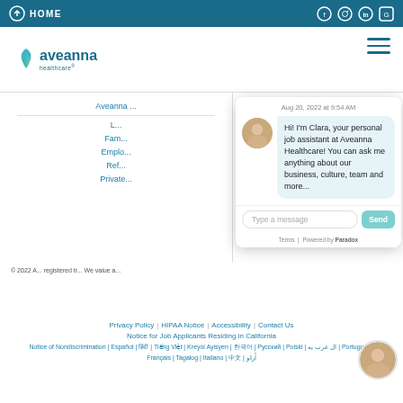HOME
[Figure (logo): Aveanna Healthcare logo with teal leaf icon]
Ave...
L...
Fam...
Emplo...
Ref...
Private...
[Figure (screenshot): Chat widget showing Clara the job assistant chatbot for Aveanna Healthcare. Timestamp: Aug 20, 2022 at 9:54 AM. Message: Hi! I'm Clara, your personal job assistant at Aveanna Healthcare! You can ask me anything about our business, culture, team and more. Input field: Type a message. Send button. Powered by Paradox.]
© 2022 A... registered tr... We value a...
Privacy Policy | HIPAA Notice | Accessibility | Contact Us
Notice for Job Applicants Residing in California
Notice of Nondiscrimination | Español | [Hindi] | Tiếng Việt | Kreyòl Ayisyen | [Korean] | Русский | Polski | ال عرب يه | Português | Français | Tagalog | Italiano | [Chinese] | اُردُو